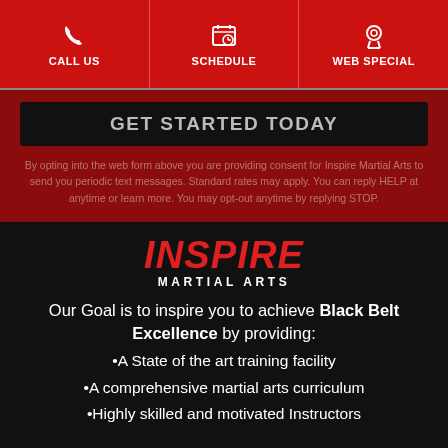CALL US | SCHEDULE | WEB SPECIAL
GET STARTED TODAY
By opting into the web form above you are providing consent for Inspire Martial Arts to send you periodic text messages. Standard rates may apply. You can reply HELP at anytime or learn more. You may opt-out anytime by replying STOP.
[Figure (logo): Inspire Martial Arts logo — INSPIRE in red italic bold, MARTIAL ARTS in white bold below]
Our Goal is to inspire you to achieve Black Belt Excellence by providing:
•A State of the art training facility
•A comprehensive martial arts curriculum
•Highly skilled and motivated Instructors